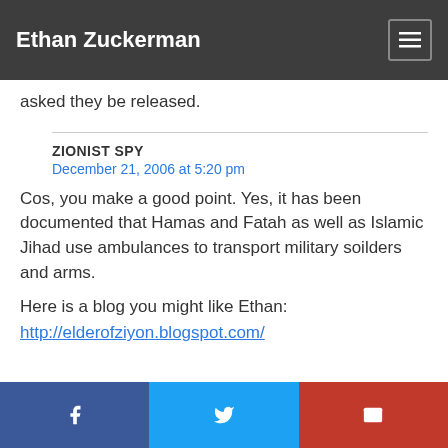Ethan Zuckerman
asked they be released.
ZIONIST SPY
December 21, 2006 at 5:20 pm
Cos, you make a good point. Yes, it has been documented that Hamas and Fatah as well as Islamic Jihad use ambulances to transport military soilders and arms.
Here is a blog you might like Ethan:
http://elderofziyon.blogspot.com/